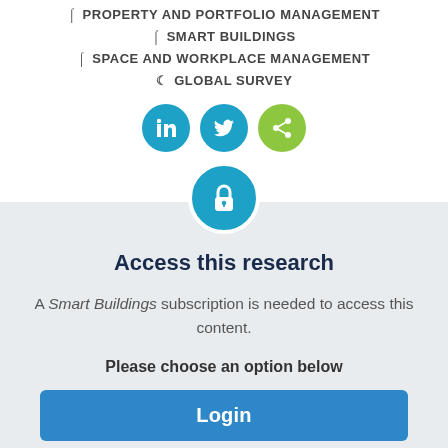☖ PROPERTY AND PORTFOLIO MANAGEMENT
☖ SMART BUILDINGS
☖ SPACE AND WORKPLACE MANAGEMENT
♀ GLOBAL SURVEY
[Figure (infographic): Three social media buttons: LinkedIn (blue), Twitter (blue), Share (green)]
[Figure (infographic): Lock icon in a blue circle indicating gated/access-restricted content]
Access this research
A Smart Buildings subscription is needed to access this content.
Please choose an option below
Login